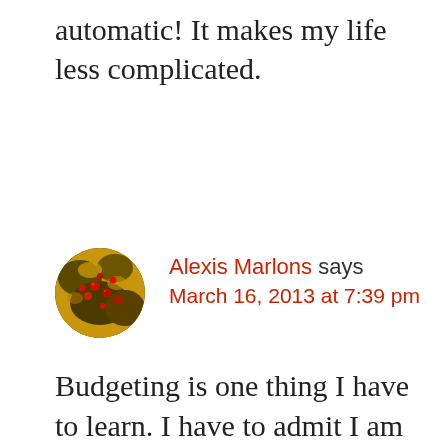automatic! It makes my life less complicated.
[Figure (photo): Circular avatar image showing autumn/fall foliage with red berries, warm yellow-orange tones]
Alexis Marlons says
March 16, 2013 at 7:39 pm
Budgeting is one thing I have to learn. I have to admit I am an impulsive buyer and I am just learning how to budget when I got